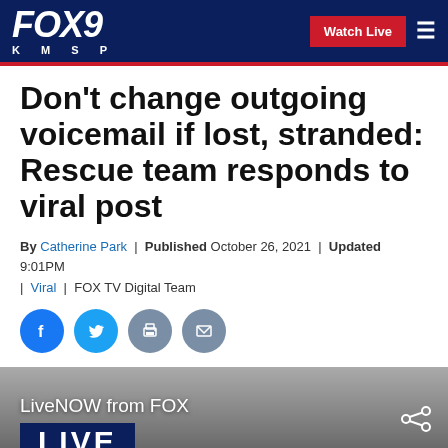FOX 9 KMSP | Watch Live
Don't change outgoing voicemail if lost, stranded: Rescue team responds to viral post
By Catherine Park | Published October 26, 2021 | Updated 9:01PM | Viral | FOX TV Digital Team
[Figure (screenshot): Social share icons: Facebook, Twitter, Print, Email]
[Figure (screenshot): LiveNOW from FOX video player showing LIVE badge on dark background with share icon]